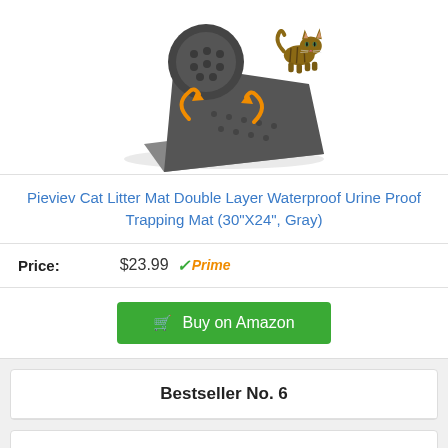[Figure (photo): Cat litter mat product image: double-layer gray honeycomb mat partially rolled up with orange arrows indicating trap mechanism, a cat walking on top]
Pieviev Cat Litter Mat Double Layer Waterproof Urine Proof Trapping Mat (30"X24", Gray)
Price: $23.99 ✓Prime
Buy on Amazon
Bestseller No. 6
[Figure (photo): Cat litter box product image, partially visible at bottom of page]